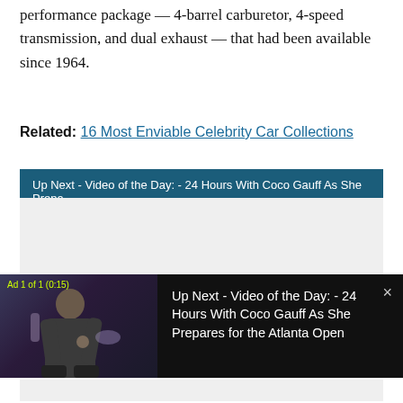performance package — 4-barrel carburetor, 4-speed transmission, and dual exhaust — that had been available since 1964.
Related: 16 Most Enviable Celebrity Car Collections
[Figure (screenshot): Video player banner showing 'Up Next - Video of the Day: - 24 Hours With Coco Gauff As She Prepa...' on a dark teal background, with a video thumbnail of a person and overlay text 'Up Next - Video of the Day: - 24 Hours With Coco Gauff As She Prepares for the Atlanta Open'. Ad 1 of 1 (0:15) label shown. Close button (×) in top right.]